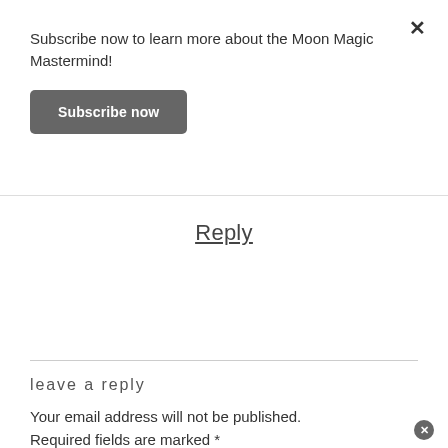×
Subscribe now to learn more about the Moon Magic Mastermind!
[Figure (other): Subscribe now button — dark grey rounded rectangle with white bold text]
Reply
leave a reply
Your email address will not be published. Required fields are marked *